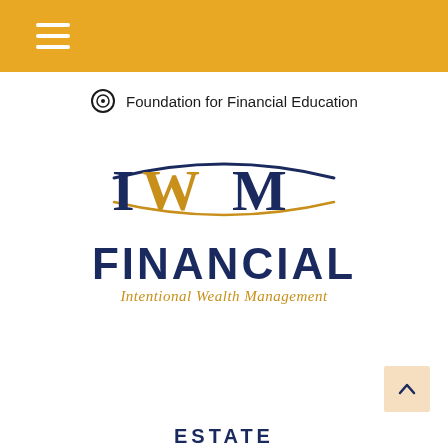☰ (hamburger menu)
Foundation for Financial Education
[Figure (logo): IWM Financial – Intentional Wealth Management logo. Large stylized letters IWM in dark navy with gold accents, with swoosh lines above and below. Below: FINANCIAL in large dark navy bold caps. Below that: Intentional Wealth Management in gold italic serif.]
ESTATE